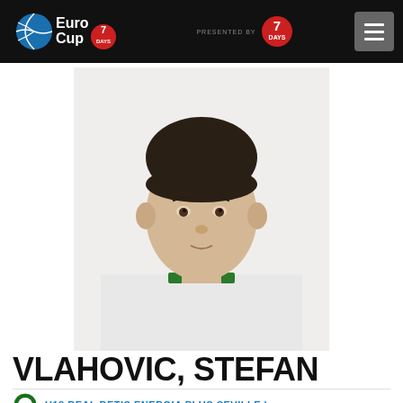EuroCup 7DAYS — presented by 7DAYS
[Figure (photo): Headshot photo of basketball player Stefan Vlahovic wearing a white and green jersey, looking straight at camera against a white background]
VLAHOVIC, STEFAN
U18 REAL BETIS ENERGIA PLUS SEVILLE |